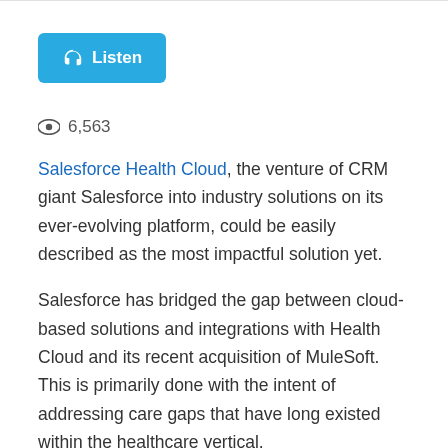[Figure (other): Blue 'Listen' button with headphone icon]
👁 6,563
Salesforce Health Cloud, the venture of CRM giant Salesforce into industry solutions on its ever-evolving platform, could be easily described as the most impactful solution yet.
Salesforce has bridged the gap between cloud-based solutions and integrations with Health Cloud and its recent acquisition of MuleSoft. This is primarily done with the intent of addressing care gaps that have long existed within the healthcare vertical.